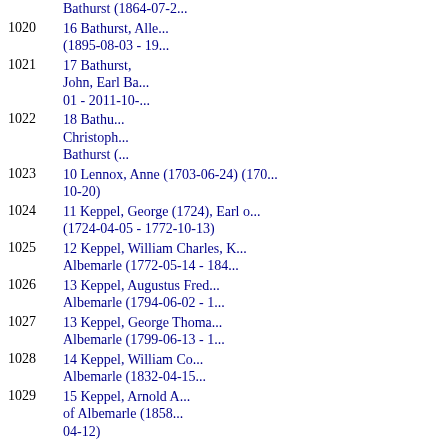Bathurst (1864-07-2...
1020  16 Bathurst, Alle... (1895-08-03 - 19...
1021  17 Bathurst, John, Earl Ba... 01 - 2011-10-...
1022  18 Bathu... Christoph... Bathurst (...
1023  10 Lennox, Anne (1703-06-24) (170... 10-20)
1024  11 Keppel, George (1724), Earl o... (1724-04-05 - 1772-10-13)
1025  12 Keppel, William Charles, K... Albemarle (1772-05-14 - 184...
1026  13 Keppel, Augustus Fred... Albemarle (1794-06-02 - 1...
1027  13 Keppel, George Thoma... Albemarle (1799-06-13 - 1...
1028  14 Keppel, William Co... Albemarle (1832-04-15...
1029  15 Keppel, Arnold A... of Albemarle (1858... 04-12)